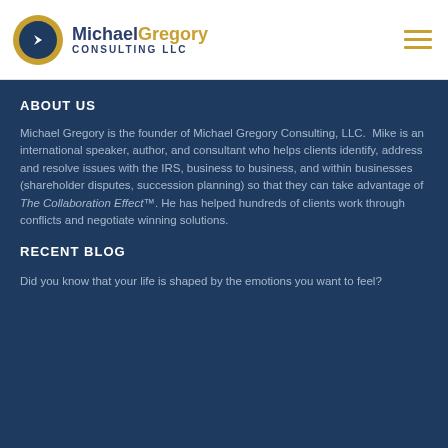[Figure (logo): Michael Gregory Consulting LLC logo with circular icon in gold and navy blue, company name in navy (Michael) and gold (Gregory) with CONSULTING LLC subtitle]
ABOUT US
Michael Gregory is the founder of Michael Gregory Consulting, LLC.  Mike is an international speaker, author, and consultant who helps clients identify, address and resolve issues with the IRS, business to business, and within businesses (shareholder disputes, succession planning) so that they can take advantage of The Collaboration Effect™. He has helped hundreds of clients work through conflicts and negotiate winning solutions.
RECENT BLOG
Did you know that your life is shaped by the emotions you want to feel?